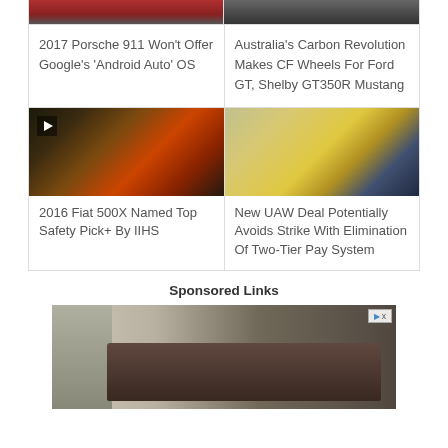[Figure (photo): Top partial strip showing two car photos cropped at top]
2017 Porsche 911 Won't Offer Google's 'Android Auto' OS
Australia's Carbon Revolution Makes CF Wheels For Ford GT, Shelby GT350R Mustang
[Figure (photo): Red Fiat 500X driving on a winding road with play button overlay]
[Figure (photo): UAW auto factory with workers on assembly line]
2016 Fiat 500X Named Top Safety Pick+ By IIHS
New UAW Deal Potentially Avoids Strike With Elimination Of Two-Tier Pay System
Sponsored Links
[Figure (photo): Sponsored advertisement showing a truck in a rocky outdoor setting]